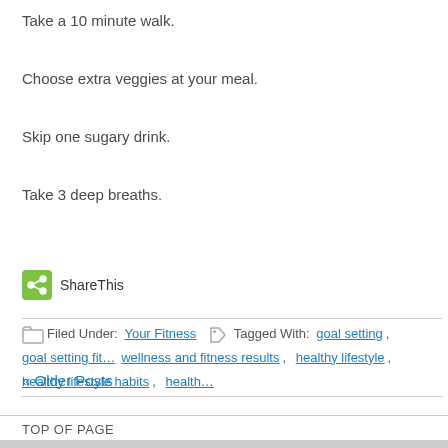Take a 10 minute walk.
Choose extra veggies at your meal.
Skip one sugary drink.
Take 3 deep breaths.
ShareThis
Filed Under: Your Fitness  Tagged With: goal setting, goal setting fit... wellness and fitness results, healthy lifestyle, healthy lifestyle habits, health...
« Older Posts
TOP OF PAGE